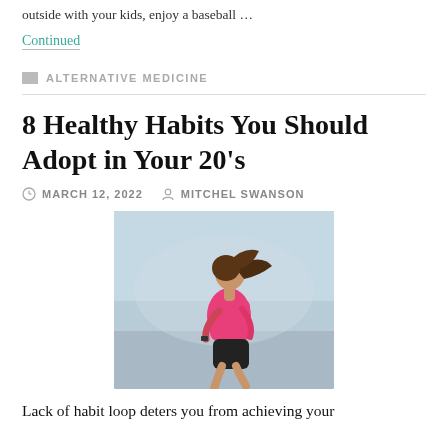outside with your kids, enjoy a baseball …
Continued
ALTERNATIVE MEDICINE
8 Healthy Habits You Should Adopt in Your 20's
MARCH 12, 2022   MITCHEL SWANSON
[Figure (photo): Woman in pink tank top running outdoors, profile view, hair in ponytail]
Lack of habit loop deters you from achieving your